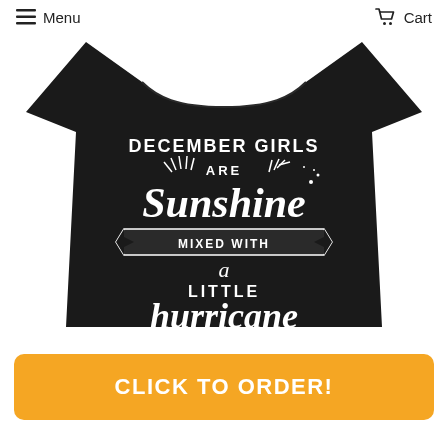Menu   Cart
[Figure (photo): Black t-shirt with white text reading: DECEMBER GIRLS ARE Sunshine MIXED WITH a LITTLE hurricane]
CLICK TO ORDER!